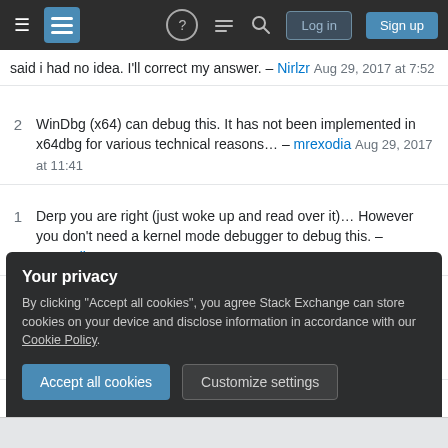Stack Exchange navigation bar with hamburger menu, logo, help, chat, search icons, Log in and Sign up buttons
said i had no idea. I'll correct my answer. – Nirlzr Aug 29, 2017 at 7:52
2 WinDbg (x64) can debug this. It has not been implemented in x64dbg for various technical reasons... – mrexodia Aug 29, 2017 at 11:41
1 Derp you are right (just woke up and read over it)... However you don't need a kernel mode debugger to debug this. – mrexodia Aug 29, 2017 at 12:10
1 I found a library that does exactly what I wanted to do: github.com/rwfpl/rewolf-wow64ext – Shmuel Fomberg Sep 3, 2017 at 6:51
Your privacy
By clicking "Accept all cookies", you agree Stack Exchange can store cookies on your device and disclose information in accordance with our Cookie Policy.
Accept all cookies  Customize settings